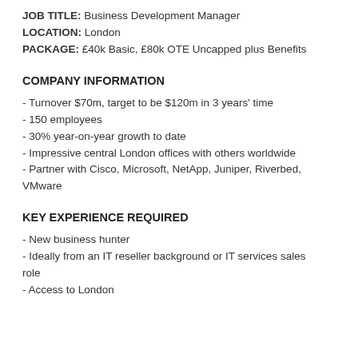JOB TITLE: Business Development Manager
LOCATION: London
PACKAGE: £40k Basic, £80k OTE Uncapped plus Benefits
COMPANY INFORMATION
- Turnover $70m, target to be $120m in 3 years' time
- 150 employees
- 30% year-on-year growth to date
- Impressive central London offices with others worldwide
- Partner with Cisco, Microsoft, NetApp, Juniper, Riverbed, VMware
KEY EXPERIENCE REQUIRED
- New business hunter
- Ideally from an IT reseller background or IT services sales role
- Access to London